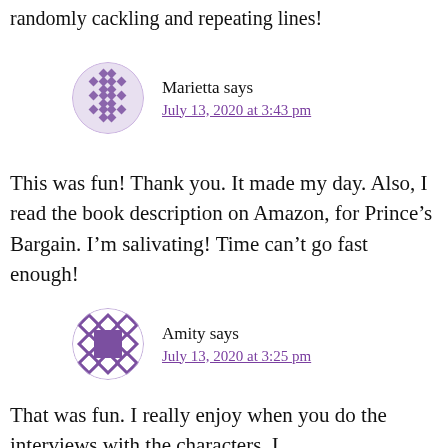randomly cackling and repeating lines!
Marietta says
July 13, 2020 at 3:43 pm
This was fun! Thank you. It made my day. Also, I read the book description on Amazon, for Prince's Bargain. I'm salivating! Time can't go fast enough!
Amity says
July 13, 2020 at 3:25 pm
That was fun. I really enjoy when you do the interviews with the characters. I...</